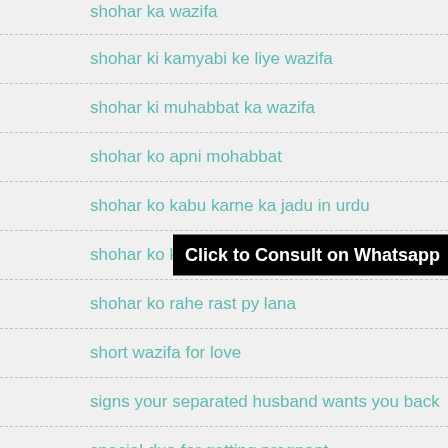shohar ka wazifa
shohar ki kamyabi ke liye wazifa
shohar ki muhabbat ka wazifa
shohar ko apni mohabbat
shohar ko kabu karne ka jadu in urdu
shohar ko kabu karne ki d... Click to Consult on Whatsapp
shohar ko rahe rast py lana
short wazifa for love
signs your separated husband wants you back
special dua for getting pregnant